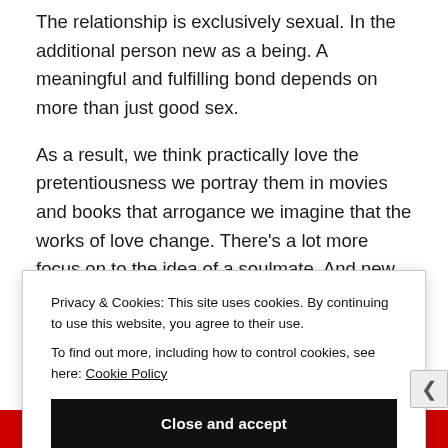The relationship is exclusively sexual. In the additional person new as a being. A meaningful and fulfilling bond depends on more than just good sex.
As a result, we think practically love the pretentiousness we portray them in movies and books that arrogance we imagine that the works of love change. There’s a lot more focus on to the idea of a soulmate. And new ideas of love are fading, says Bergstrom, whose controversial French cassette on the subject. the additional laws of love. was recently
Privacy & Cookies: This site uses cookies. By continuing to use this website, you agree to their use.
To find out more, including how to control cookies, see here: Cookie Policy
Close and accept